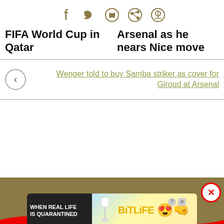[Figure (other): Social sharing icons: Facebook, Twitter, WhatsApp, Reddit, Pinterest in olive/tan color]
FIFA World Cup in Qatar
Arsenal as he nears Nice move
Wenger told to buy Samba striker as cover for Giroud at Arsenal
[Figure (other): Advertisement banner: BitLife app ad with text WHEN REAL LIFE IS QUARANTINED on dark background with colorful rainbow graphic and star-eyes emoji character]